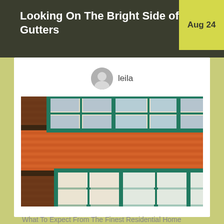Looking On The Bright Side of Gutters
Aug 24
leila
[Figure (photo): Photograph of a red/orange tiled roof with multiple dormers featuring teal/green-framed windows arranged in two rows.]
What To Expect From The Finest Residential Home Improvement Professionals